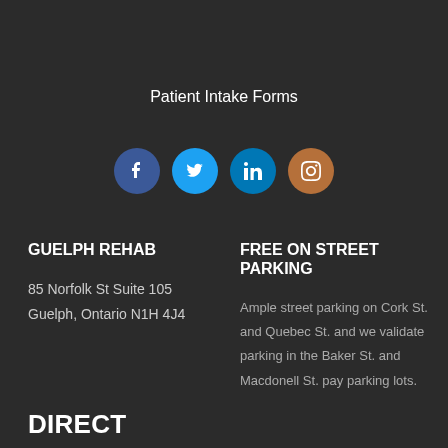Patient Intake Forms
[Figure (infographic): Four social media icons in circles: Facebook (dark blue), Twitter (light blue), LinkedIn (medium blue), Instagram (brown/orange)]
GUELPH REHAB
85 Norfolk St Suite 105
Guelph, Ontario N1H 4J4
FREE ON STREET PARKING
Ample street parking on Cork St. and Quebec St. and we validate parking in the Baker St. and Macdonell St. pay parking lots.
DIRECT